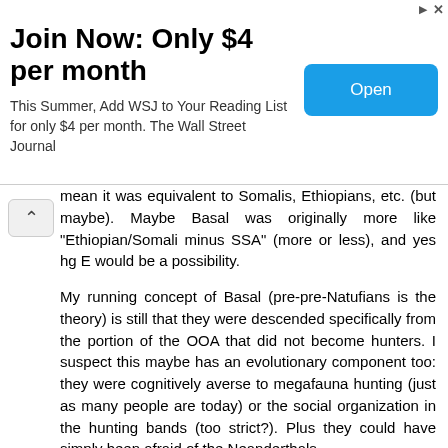[Figure (other): Advertisement banner: 'Join Now: Only $4 per month' with Open button. This Summer, Add WSJ to Your Reading List for only $4 per month. The Wall Street Journal]
mean it was equivalent to Somalis, Ethiopians, etc. (but maybe). Maybe Basal was originally more like "Ethiopian/Somali minus SSA" (more or less), and yes hg E would be a possibility.
My running concept of Basal (pre-pre-Natufians is the theory) is still that they were descended specifically from the portion of the OOA that did not become hunters. I suspect this maybe has an evolutionary component too: they were cognitively averse to megafauna hunting (just as many people are today) or the social organization in the hunting bands (too strict?). Plus they could have simply been afraid of the Neanderthals.
If that sounds too speculative, remember that Africa is the only place that nobody really hunted the megafauna to extinction and no animal domestication took place. That's all the OOA hunter group that did those things, due to